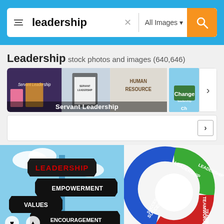[Figure (screenshot): Search bar with 'leadership' query, filter icon, clear button, All Images dropdown, and orange search button on blue background]
Leadership stock photos and images (640,646)
[Figure (screenshot): Strip of category images including Servant Leadership thumbnails, a Change street sign, with navigation arrow]
[Figure (screenshot): Empty secondary strip with right navigation arrow]
[Figure (illustration): Street sign post with directional signs reading LEADERSHIP, EMPOWERMENT, VALUES, ENCOURAGEMENT against blue sky]
[Figure (illustration): Circular arrow diagram with LEADERSHIP (green), TEAMWORK (red), SUCCESS (blue) labels]